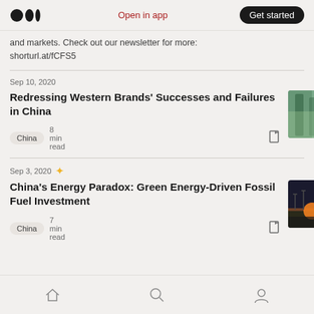Medium — Open in app   Get started
and markets. Check out our newsletter for more: shorturl.at/fCFS5
Sep 10, 2020
Redressing Western Brands' Successes and Failures in China
China  8 min read
Sep 3, 2020
China's Energy Paradox: Green Energy-Driven Fossil Fuel Investment
China  7 min read
Home  Search  Profile